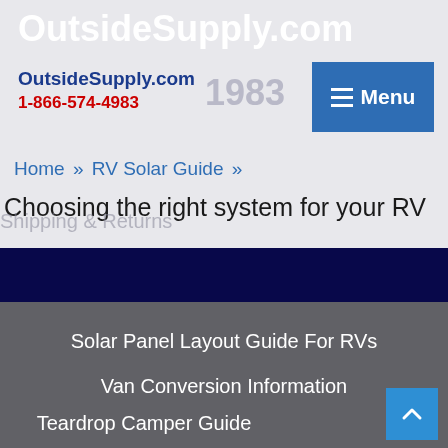OutsideSupply.com
OutsideSupply.com  1-866-574-4983  Menu
Home » RV Solar Guide » Choosing the right system for your RV
Solar Panel Layout Guide For RVs
Van Conversion Information
Teardrop Camper Guide